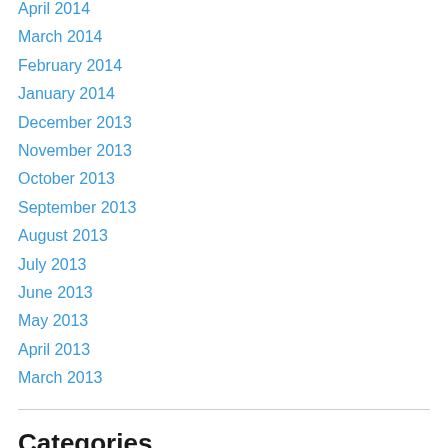April 2014
March 2014
February 2014
January 2014
December 2013
November 2013
October 2013
September 2013
August 2013
July 2013
June 2013
May 2013
April 2013
March 2013
Categories
Baked treats
Baking powder